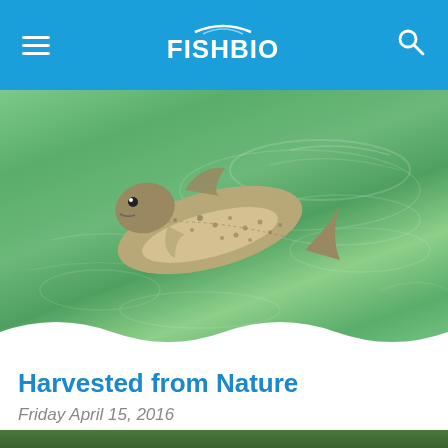FISHBIO
[Figure (photo): A trout or salmon fish swimming near the surface of green, clear water with rippling reflections]
Harvested from Nature
Friday April 15, 2016
[Figure (photo): Partial thumbnail of trees/outdoor scene at bottom of page]